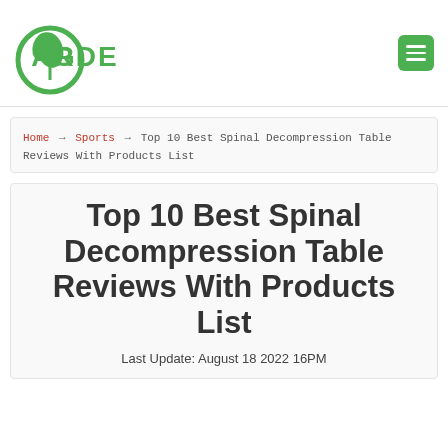[Figure (logo): Garden website logo with green circular plant icon and the word GARDEN in stylized green text]
Home → Sports → Top 10 Best Spinal Decompression Table Reviews With Products List
Top 10 Best Spinal Decompression Table Reviews With Products List
Last Update: August 18 2022 16PM